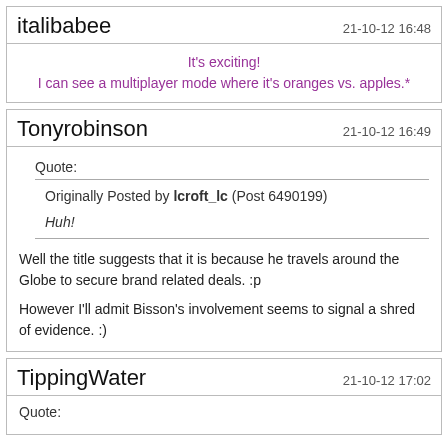italibabee
21-10-12 16:48
It's exciting!
I can see a multiplayer mode where it's oranges vs. apples.*
Tonyrobinson
21-10-12 16:49
Quote:
Originally Posted by lcroft_lc (Post 6490199)
Huh!
Well the title suggests that it is because he travels around the Globe to secure brand related deals. :p
However I'll admit Bisson's involvement seems to signal a shred of evidence. :)
TippingWater
21-10-12 17:02
Quote: